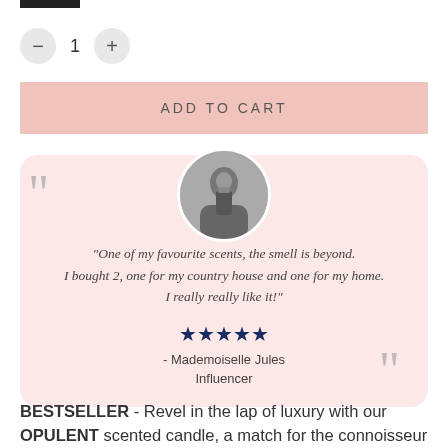[Figure (logo): Small black horizontal bar logo stub at top left]
[Figure (infographic): Quantity selector with minus button, number 1, and plus button]
ADD TO CART
[Figure (photo): Circular black and white photo of person holding a candle]
"One of my favourite scents, the smell is beyond. I bought 2, one for my country house and one for my home. I really really like it!"
★★★★★ - Mademoiselle Jules Influencer
BESTSELLER - Revel in the lap of luxury with our OPULENT scented candle, a match for the connoisseur